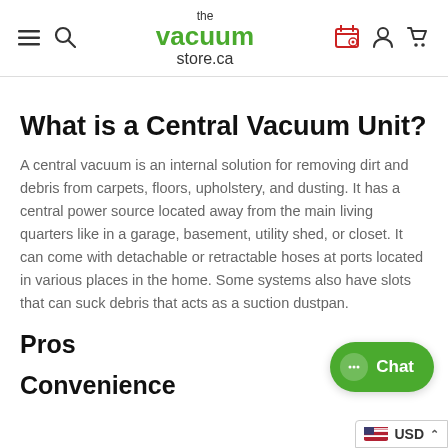the vacuum store.ca — navigation header
What is a Central Vacuum Unit?
A central vacuum is an internal solution for removing dirt and debris from carpets, floors, upholstery, and dusting. It has a central power source located away from the main living quarters like in a garage, basement, utility shed, or closet. It can come with detachable or retractable hoses at ports located in various places in the home. Some systems also have slots that can suck debris that acts as a suction dustpan.
Pros
Convenience
[Figure (other): Green Chat button with speech bubble icon and text 'Chat']
[Figure (other): USD currency selector with US flag and chevron]